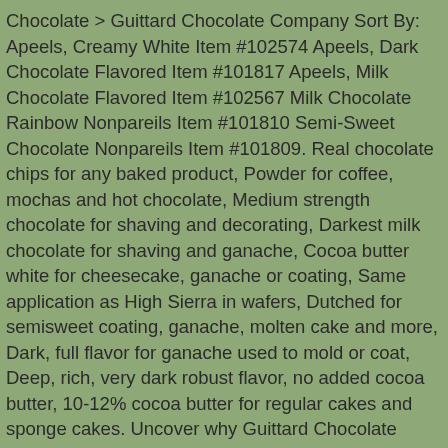Chocolate > Guittard Chocolate Company Sort By: Apeels, Creamy White Item #102574 Apeels, Dark Chocolate Flavored Item #101817 Apeels, Milk Chocolate Flavored Item #102567 Milk Chocolate Rainbow Nonpareils Item #101810 Semi-Sweet Chocolate Nonpareils Item #101809. Real chocolate chips for any baked product, Powder for coffee, mochas and hot chocolate, Medium strength chocolate for shaving and decorating, Darkest milk chocolate for shaving and ganache, Cocoa butter white for cheesecake, ganache or coating, Same application as High Sierra in wafers, Dutched for semisweet coating, ganache, molten cake and more, Dark, full flavor for ganache used to mold or coat, Deep, rich, very dark robust flavor, no added cocoa butter, 10-12% cocoa butter for regular cakes and sponge cakes. Uncover why Guittard Chocolate Company is the ... Guittard Bulk Baking Chips | World Wide Chocolate. A Note From Guittard Chocolate Company Regarding Covid-19 . The Company offers chocolate bars, baking products, ice creams, and beverages. Available in a creamy milk chocolate, and a semisweet dark chocolate, these blends are completely sugar-free, with sweetening from Maltitol. Guittard Chocolate Chips fill your